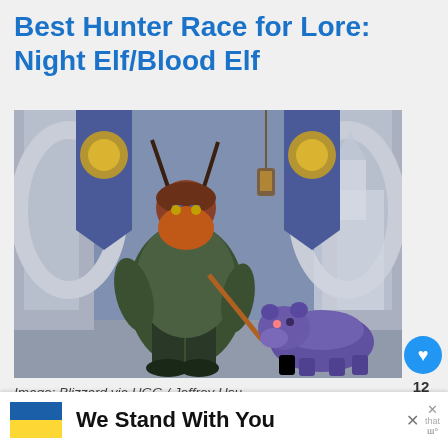Best Hunter Race for Lore: Night Elf/Blood Elf
[Figure (screenshot): World of Warcraft screenshot showing a hunter character with orange beard and green armor holding a bow, with a purple bear companion, set in a stone courtyard with blue Alliance banners.]
Image: Blizzard via HGG / Jeffrey Hsu
As an incredibly long-lived race with a deep
We Stand With You